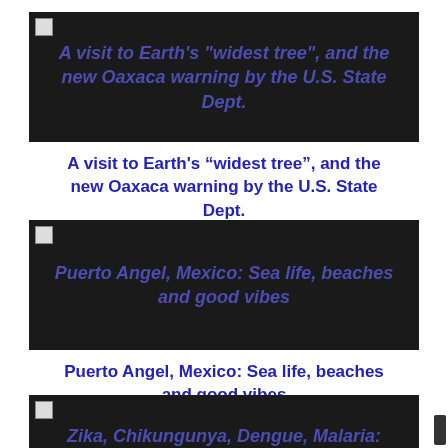[Figure (other): Dark banner image with overlay text: A visit to Earth's “widest tree”, and the new Oaxaca warning by the U.S. State Dept.]
A visit to Earth’s “widest tree”, and the new Oaxaca warning by the U.S. State Dept.
August 26, 2017
[Figure (other): Dark banner image with overlay text: Puerto Angel, Mexico: Sea life, beaches and good vibes]
Puerto Angel, Mexico: Sea life, beaches and good vibes
February 13, 2017
[Figure (other): Dark banner image with overlay text: Zika, Chikungunya, Dengue, Malaria: Which one do I have?]